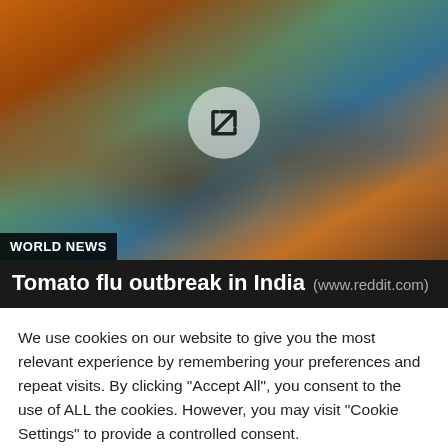[Figure (photo): Photo of a group of children smiling at the camera, with a share/external link icon overlaid in the center. A 'WORLD NEWS' label appears at the bottom left of the image.]
Tomato flu outbreak in India (www.reddit.com)
We use cookies on our website to give you the most relevant experience by remembering your preferences and repeat visits. By clicking "Accept All", you consent to the use of ALL the cookies. However, you may visit "Cookie Settings" to provide a controlled consent.